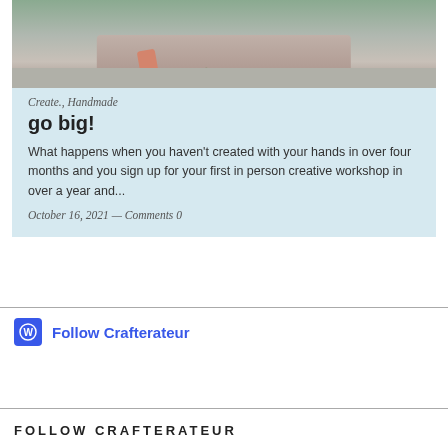[Figure (photo): Partial photo of a person crouching outdoors on pavement, visible from knees/hands down, with greenery in hand]
Create., Handmade
go big!
What happens when you haven't created with your hands in over four months and you sign up for your first in person creative workshop in over a year and...
October 16, 2021 — Comments 0
[Figure (logo): WordPress follow widget logo icon (blue rounded square with W)]
Follow Crafterateur
FOLLOW CRAFTERATEUR
Enter your email address to follow Crafteraueur and receive notifications of new posts by email.